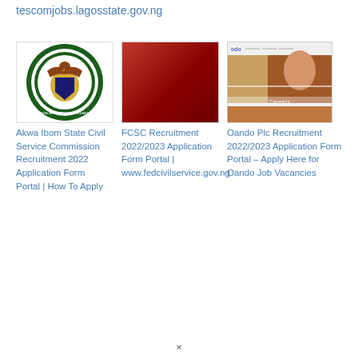tescomjobs.lagosstate.gov.ng
[Figure (logo): Akwa Ibom State Government circular logo with coat of arms]
Akwa Ibom State Civil Service Commission Recruitment 2022 Application Form Portal | How To Apply
[Figure (photo): Red/dark red gradient square image]
FCSC Recruitment 2022/2023 Application Form Portal | www.fedcivilservice.gov.ng
[Figure (screenshot): Oando website screenshot showing Careers section with a woman's face]
Oando Plc Recruitment 2022/2023 Application Form Portal – Apply Here for Oando Job Vacancies